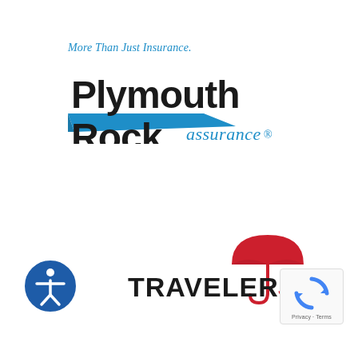[Figure (logo): Plymouth Rock Assurance logo with tagline 'More Than Just Insurance.' in blue italic, large bold black 'Plymouth Rock' text, blue swoosh graphic, and 'assurance.' in blue script]
[Figure (logo): Travelers insurance logo with red umbrella graphic and bold black TRAVELERS text with red J]
[Figure (logo): Accessibility icon: circular blue badge with white figure/person symbol]
[Figure (logo): reCAPTCHA badge with circular arrow icon and 'Privacy - Terms' text]